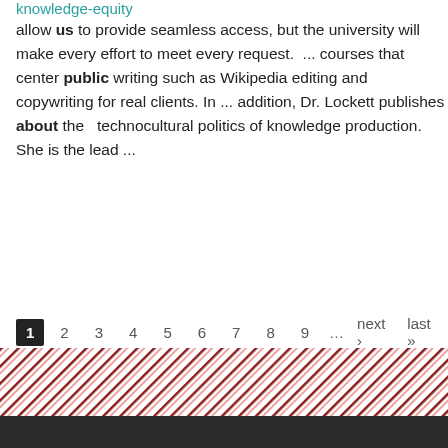knowledge-equity
allow us to provide seamless access, but the university will make every effort to meet every request.  ... courses that center public writing such as Wikipedia editing and copywriting for real clients. In ... addition, Dr. Lockett publishes about the  technocultural politics of knowledge production. She is the lead ...
1  2  3  4  5  6  7  8  9  ...  next ›  last »